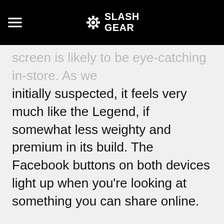SlashGear
screen is likely to be eye-catching in-store. As we initially suspected, it feels very much like the Legend, if somewhat less weighty and premium in its build. The Facebook buttons on both devices light up when you're looking at something you can share online.